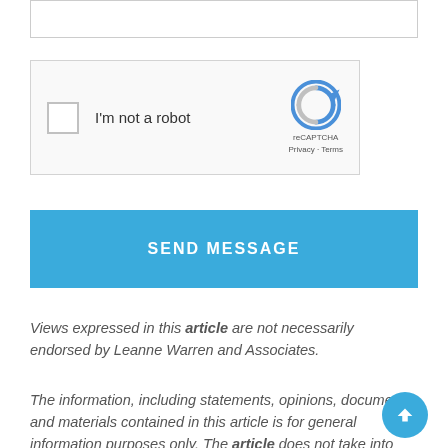[Figure (screenshot): Text input field (empty)]
[Figure (screenshot): reCAPTCHA widget with checkbox labeled 'I'm not a robot' and reCAPTCHA logo with Privacy and Terms links]
[Figure (screenshot): Blue 'SEND MESSAGE' button]
Views expressed in this article are not necessarily endorsed by Leanne Warren and Associates.
The information, including statements, opinions, documents and materials contained in this article is for general information purposes only. The article does not take into account your specific needs, objectives or circumstances, and it is not legal advice or services. Any reliance you place on the article is at your own risk.